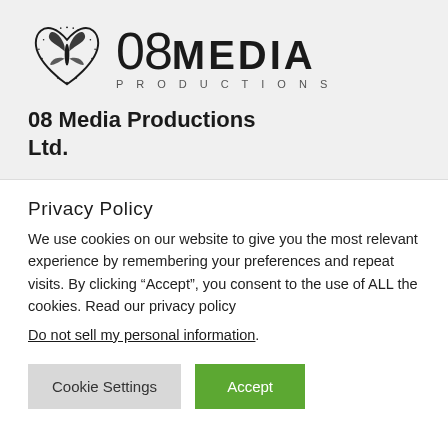[Figure (logo): 08 Media Productions Ltd. logo with decorative heart/butterfly SVG icon and stylized text '08MEDIA PRODUCTIONS']
08 Media Productions Ltd.
Privacy Policy
We use cookies on our website to give you the most relevant experience by remembering your preferences and repeat visits. By clicking “Accept”, you consent to the use of ALL the cookies. Read our privacy policy
Do not sell my personal information.
Cookie Settings  Accept